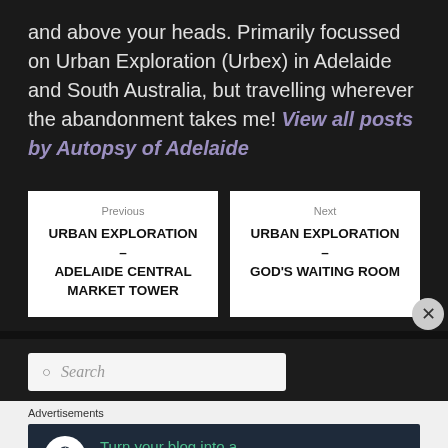and above your heads. Primarily focussed on Urban Exploration (Urbex) in Adelaide and South Australia, but travelling wherever the abandonment takes me! View all posts by Autopsy of Adelaide
Previous
URBAN EXPLORATION – ADELAIDE CENTRAL MARKET TOWER
Next
URBAN EXPLORATION – GOD'S WAITING ROOM
Search
Advertisements
Turn your blog into a money-making online course.